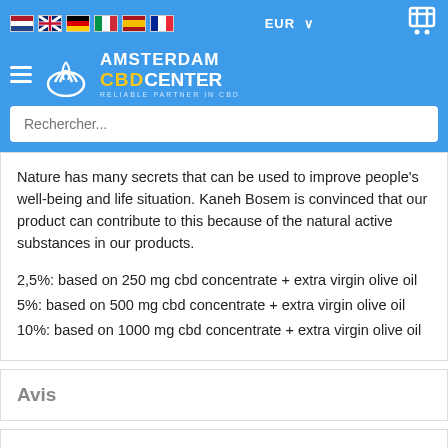Amsterdam CBD Center - header with flags, EUR currency, cart, logo, and search bar
Nature has many secrets that can be used to improve people's well-being and life situation. Kaneh Bosem is convinced that our product can contribute to this because of the natural active substances in our products.
2,5%: based on 250 mg cbd concentrate + extra virgin olive oil
5%: based on 500 mg cbd concentrate + extra virgin olive oil
10%: based on 1000 mg cbd concentrate + extra virgin olive oil
Avis
Vous commentez :